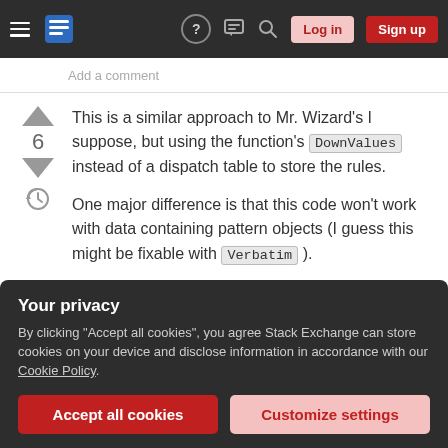Stack Exchange navigation bar with hamburger menu, logo, question mark, chat, search, Log in, Sign up buttons
Add a comment
This is a similar approach to Mr. Wizard's I suppose, but using the function's DownValues instead of a dispatch table to store the rules.
One major difference is that this code won't work with data containing pattern objects (I guess this might be fixable with Verbatim ).
The expression is traversed using MapIndexed , for
Your privacy
By clicking "Accept all cookies", you agree Stack Exchange can store cookies on your device and disclose information in accordance with our Cookie Policy.
Accept all cookies   Customize settings
ClearAll[f];